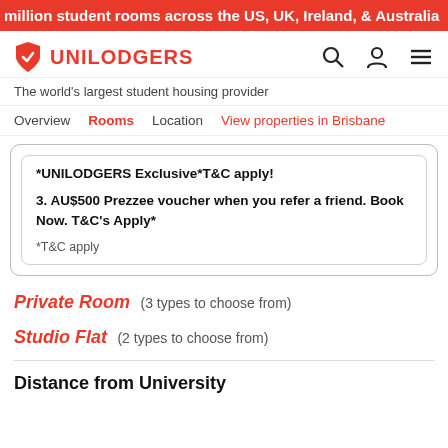million student rooms across the US, UK, Ireland, & Australia
[Figure (logo): Unilodgers logo with shield icon and navigation icons (search, user, menu)]
The world's largest student housing provider
Overview  Rooms  Location  View properties in Brisbane
*UNILODGERS Exclusive*T&C apply!
3. AU$500 Prezzee voucher when you refer a friend. Book Now. T&C's Apply*
*T&C apply
Private Room  (3 types to choose from)
Studio Flat  (2 types to choose from)
Distance from University